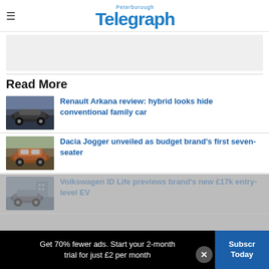Peterborough Telegraph
[Figure (other): Advertisement placeholder banner (grey box)]
Read More
[Figure (photo): Thumbnail of Renault Arkana car on rocky landscape]
Renault Arkana review: hybrid looks hide conventional family car
[Figure (photo): Thumbnail of Dacia Jogger SUV on sandy terrain]
Dacia Jogger unveiled as budget brand's first seven-seater
[Figure (photo): Thumbnail of Volkswagen ID Life concept car in urban setting]
Volkswagen ID Life previews brand's new £17k entry-level EV
Get 70% fewer ads. Start your 2-month trial for just £2 per month
Subscribe Today